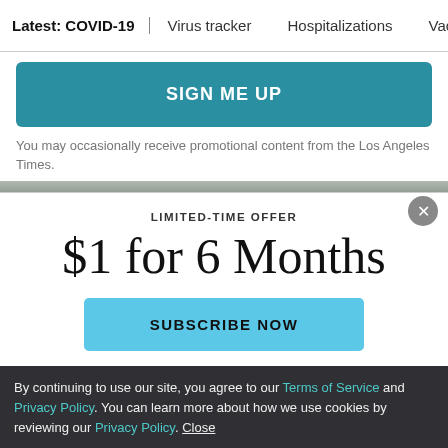Latest: COVID-19  Virus tracker  Hospitalizations  Vacc
SIGN ME UP
You may occasionally receive promotional content from the Los Angeles Times.
[Figure (photo): Photo strip at top of article content]
LIMITED-TIME OFFER
$1 for 6 Months
SUBSCRIBE NOW
By continuing to use our site, you agree to our Terms of Service and Privacy Policy. You can learn more about how we use cookies by reviewing our Privacy Policy. Close